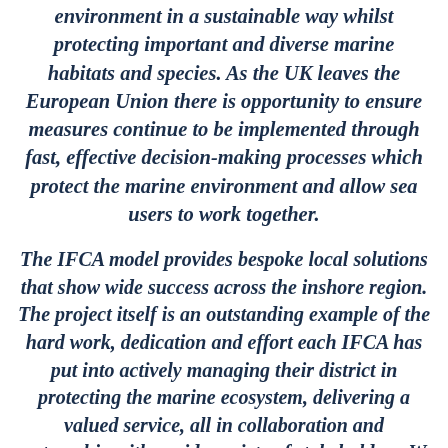environment in a sustainable way whilst protecting important and diverse marine habitats and species. As the UK leaves the European Union there is opportunity to ensure measures continue to be implemented through fast, effective decision-making processes which protect the marine environment and allow sea users to work together.
The IFCA model provides bespoke local solutions that show wide success across the inshore region. The project itself is an outstanding example of the hard work, dedication and effort each IFCA has put into actively managing their district in protecting the marine ecosystem, delivering a valued service, all in collaboration and partnership with a wide variety of stakeholders. We support the continuation of the project and commend IFCA's management of the UK's blue belt, all of which underpins our vision to pass onto the next